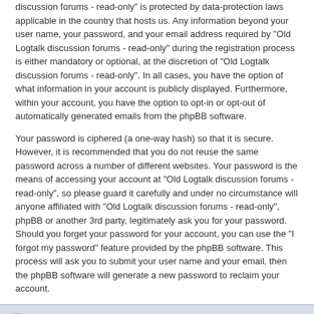discussion forums - read-only" is protected by data-protection laws applicable in the country that hosts us. Any information beyond your user name, your password, and your email address required by "Old Logtalk discussion forums - read-only" during the registration process is either mandatory or optional, at the discretion of "Old Logtalk discussion forums - read-only". In all cases, you have the option of what information in your account is publicly displayed. Furthermore, within your account, you have the option to opt-in or opt-out of automatically generated emails from the phpBB software.
Your password is ciphered (a one-way hash) so that it is secure. However, it is recommended that you do not reuse the same password across a number of different websites. Your password is the means of accessing your account at "Old Logtalk discussion forums - read-only", so please guard it carefully and under no circumstance will anyone affiliated with "Old Logtalk discussion forums - read-only", phpBB or another 3rd party, legitimately ask you for your password. Should you forget your password for your account, you can use the "I forgot my password" feature provided by the phpBB software. This process will ask you to submit your user name and your email, then the phpBB software will generate a new password to reclaim your account.
Board index   Delete cookies   All times are UTC
Powered by phpBB® Forum Software © phpBB Limited   Privacy | Terms